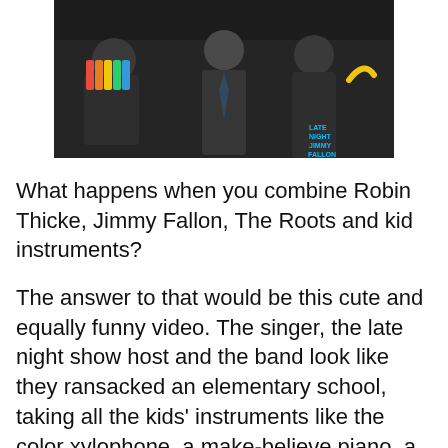[Figure (photo): Group of people including Robin Thicke, Jimmy Fallon and The Roots holding kid instruments, with Late Night with Jimmy Fallon watermark in bottom right corner]
What happens when you combine Robin Thicke, Jimmy Fallon, The Roots and kid instruments?
The answer to that would be this cute and equally funny video. The singer, the late night show host and the band look like they ransacked an elementary school, taking all the kids' instruments like the color xylophone, a make-believe piano, a flute, some maracas and a…banana?
Check out the stripped down version of